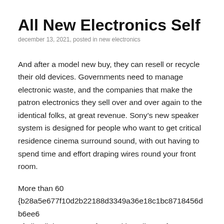All New Electronics Self
december 13, 2021, posted in new electronics
And after a model new buy, they can resell or recycle their old devices. Governments need to manage electronic waste, and the companies that make the patron electronics they sell over and over again to the identical folks, at great revenue. Sony's new speaker system is designed for people who want to get critical residence cinema surround sound, with out having to spend time and effort draping wires round your front room.
More than 60
{b28a5e677f10d2b22188d3349a36e18c1bc8718456db6ee6
of all cellphones manufactured in India are from UP. In